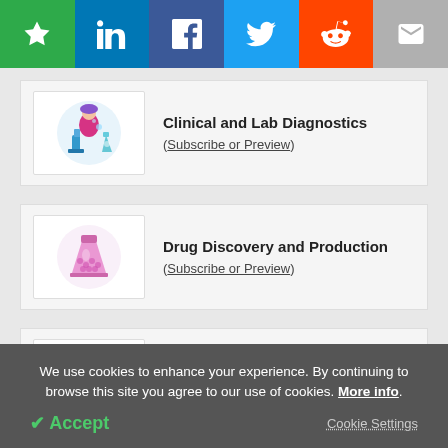[Figure (other): Social sharing bar with star/bookmark (green), LinkedIn (blue), Facebook (dark blue), Twitter (light blue), Reddit (orange), Email (grey) icon buttons]
Clinical and Lab Diagnostics
(Subscribe or Preview)
Drug Discovery and Production
(Subscribe or Preview)
Metabolomics
(Subscribe or Preview)
We use cookies to enhance your experience. By continuing to browse this site you agree to our use of cookies. More info.
✔ Accept   Cookie Settings